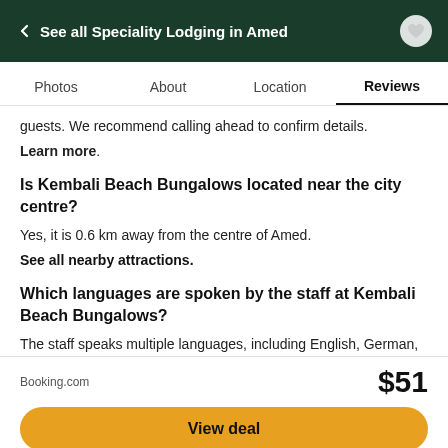← See all Speciality Lodging in Amed
Photos   About   Location   Reviews
guests. We recommend calling ahead to confirm details.
Learn more.
Is Kembali Beach Bungalows located near the city centre?
Yes, it is 0.6 km away from the centre of Amed.
See all nearby attractions.
Which languages are spoken by the staff at Kembali Beach Bungalows?
The staff speaks multiple languages, including English, German, Dutch, and Indonesian.
See all property amenities
Booking.com   $51   View deal